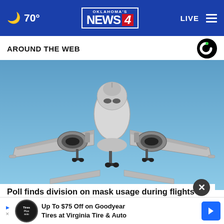70° Oklahoma's News 4 — LIVE
AROUND THE WEB
[Figure (photo): Commercial airliner photographed from below against a blue sky, showing the front, wings, and two engines, with landing gear extended.]
Poll finds division on mask usage during flights
Up To $75 Off on Goodyear Tires at Virginia Tire & Auto